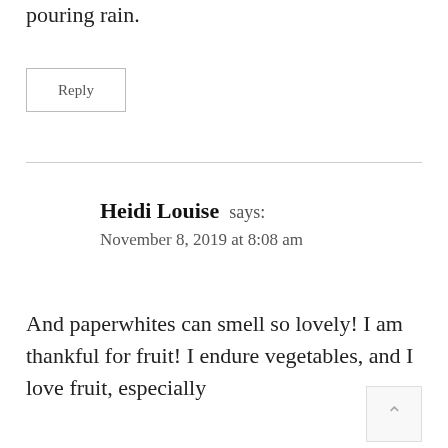pouring rain.
Reply
Heidi Louise says:
November 8, 2019 at 8:08 am
And paperwhites can smell so lovely! I am thankful for fruit! I endure vegetables, and I love fruit, especially